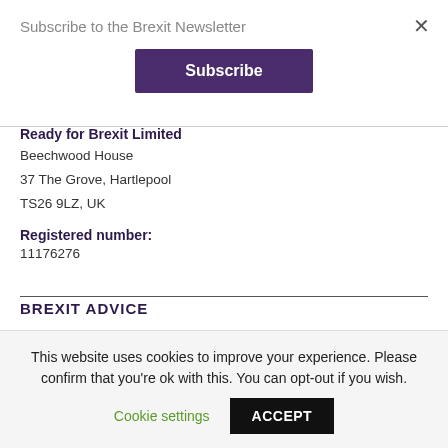Subscribe to the Brexit Newsletter
[Figure (other): Subscribe button — purple rectangle with white bold text 'Subscribe']
Ready for Brexit Limited
Beechwood House
37 The Grove, Hartlepool
TS26 9LZ, UK
Registered number:
11176276
BREXIT ADVICE
This website uses cookies to improve your experience. Please confirm that you're ok with this. You can opt-out if you wish.
Cookie settings
ACCEPT